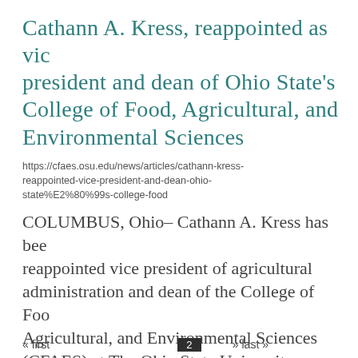Cathann A. Kress, reappointed as vice president and dean of Ohio State's College of Food, Agricultural, and Environmental Sciences
https://cfaes.osu.edu/news/articles/cathann-kress-reappointed-vice-president-and-dean-ohio-state%E2%80%99s-college-food
COLUMBUS, Ohio– Cathann A. Kress has been reappointed vice president of agricultural administration and dean of the College of Food, Agricultural, and Environmental Sciences (CFAES) at The Ohio State University, effective July 1, 2022, through June 30, 20 ...
« first  previous  ...  2  ...  « first  2  » last »